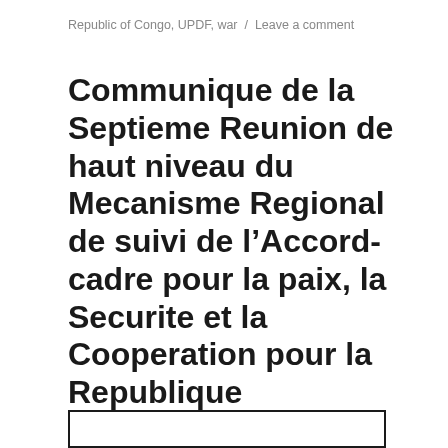Republic of Congo, UPDF, war / Leave a comment
Communique de la Septieme Reunion de haut niveau du Mecanisme Regional de suivi de l’Accord-cadre pour la paix, la Securite et la Cooperation pour la Republique Democratique du Congo et la Region (26.10.2016)